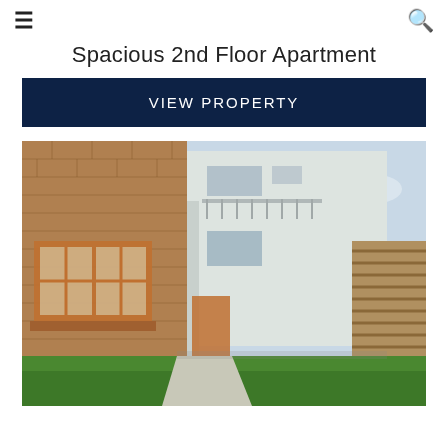≡  🔍
Spacious 2nd Floor Apartment
VIEW PROPERTY
[Figure (photo): Exterior photo of a multi-story apartment building with brick facade, wooden-framed windows, white rendered concrete sections, a wooden slatted fence on the right, green lawn in the foreground, and a cloudy sky in the background.]